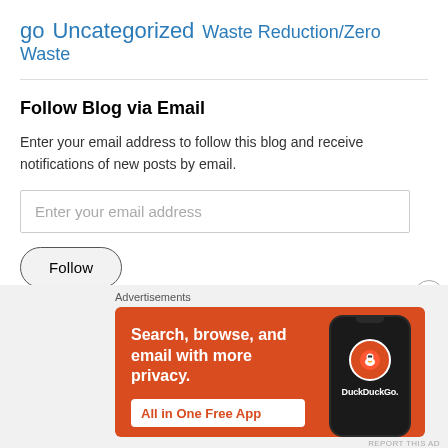go Uncategorized Waste Reduction/Zero Waste
Follow Blog via Email
Enter your email address to follow this blog and receive notifications of new posts by email.
Enter your email address
Follow
Join 186 other followers
Advertisements
[Figure (screenshot): DuckDuckGo advertisement banner with orange background showing 'Search, browse, and email with more privacy. All in One Free App' text and a phone mockup with DuckDuckGo logo.]